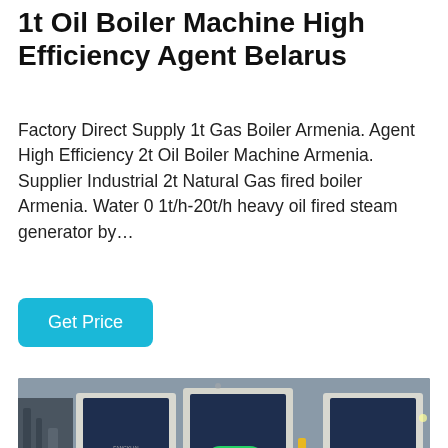1t Oil Boiler Machine High Efficiency Agent Belarus
Factory Direct Supply 1t Gas Boiler Armenia. Agent High Efficiency 2t Oil Boiler Machine Armenia. Supplier Industrial 2t Natural Gas fired boiler Armenia. Water 0 1t/h-20t/h heavy oil fired steam generator by…
[Figure (other): Blue 'Get Price' button with rounded corners and cyan background]
[Figure (photo): Industrial boiler room showing large dark blue/white boiler units side by side with pipes and equipment. A WhatsApp icon and 'Contact us now!' green pill button are overlaid on the photo.]